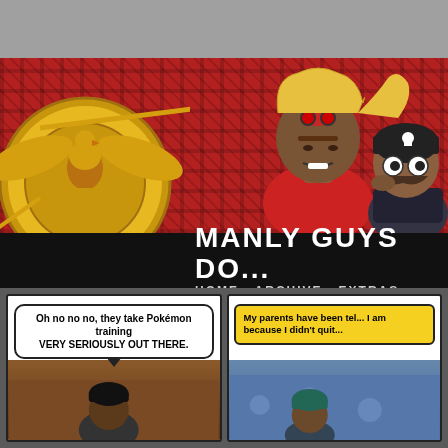[Figure (screenshot): Website screenshot of 'Manly Guys Do...' webcomic. Top gray banner area, followed by header with red tartan background, gold military medallion/seal on the left, two cartoon characters on the right (muscular man with goggles and blonde hair in red jacket, and a smaller character with dark beanie and beard). Black title bar reading 'MANLY GUYS DO...' with navigation 'HOME ARCHIVE EXTRAS'. Below: two comic panels, left panel has speech bubble 'Oh no no no, they take Pokémon training VERY SERIOUSLY out there.' with brown background and character with black beanie. Right panel has yellow box starting 'My parents have been tel... I am because I didn't quit...' with blue/purple background.]
MANLY GUYS DO...
HOME  ARCHIVE  EXTRAS
Oh no no no, they take Pokémon training VERY SERIOUSLY OUT THERE.
My parents have been tel... I am because I didn't quit...